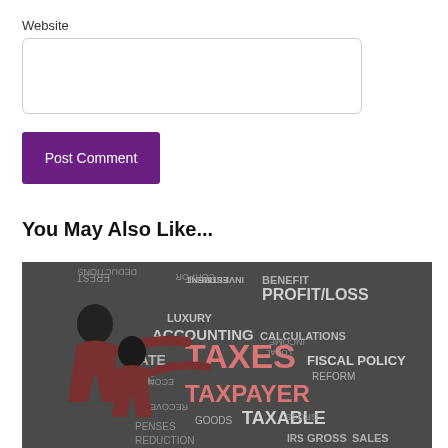Website
[Figure (other): Website text input field]
Post Comment
You May Also Like...
[Figure (illustration): Tax word cloud illustration with two silhouetted figures pointing at tax-related terms including TAXES, TAXPAYER, TAXABLE, ACCOUNTING, FISCAL POLICY, PROFIT/LOSS, CALCULATIONS, BENEFIT, FEDERAL, INVESTMENT, LUXURY, CORPORATIONS, DEDUCTIONS, STATE, ECONOMY, RECOVERY, GOODS, REDUCTION, IRS, GROSS, SALES, INCOME]